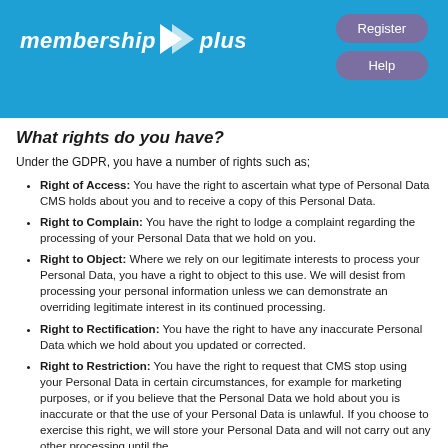membership plus | Register | Help
What rights do you have?
Under the GDPR, you have a number of rights such as;
Right of Access: You have the right to ascertain what type of Personal Data CMS holds about you and to receive a copy of this Personal Data.
Right to Complain: You have the right to lodge a complaint regarding the processing of your Personal Data that we hold on you.
Right to Object: Where we rely on our legitimate interests to process your Personal Data, you have a right to object to this use. We will desist from processing your personal information unless we can demonstrate an overriding legitimate interest in its continued processing.
Right to Rectification: You have the right to have any inaccurate Personal Data which we hold about you updated or corrected.
Right to Restriction: You have the right to request that CMS stop using your Personal Data in certain circumstances, for example for marketing purposes, or if you believe that the Personal Data we hold about you is inaccurate or that the use of your Personal Data is unlawful. If you choose to exercise this right, we will store your Personal Data and will not carry out any other processing until the